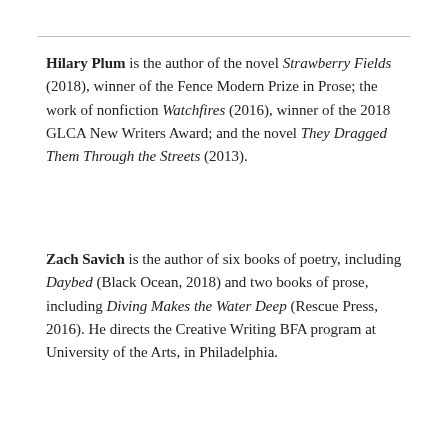Hilary Plum is the author of the novel Strawberry Fields (2018), winner of the Fence Modern Prize in Prose; the work of nonfiction Watchfires (2016), winner of the 2018 GLCA New Writers Award; and the novel They Dragged Them Through the Streets (2013).
Zach Savich is the author of six books of poetry, including Daybed (Black Ocean, 2018) and two books of prose, including Diving Makes the Water Deep (Rescue Press, 2016). He directs the Creative Writing BFA program at University of the Arts, in Philadelphia.